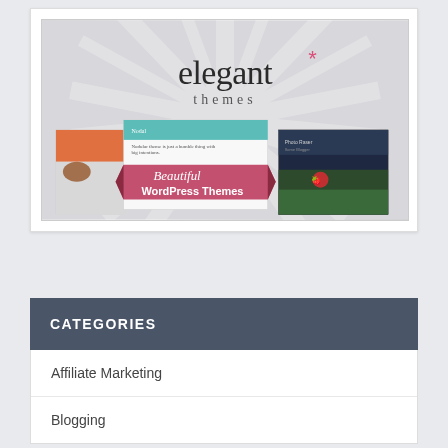[Figure (screenshot): Elegant Themes promotional banner showing the logo 'elegant* themes' with Beautiful WordPress Themes text on a pink ribbon, with multiple WordPress theme screenshots displayed below the logo]
CATEGORIES
Affiliate Marketing
Blogging